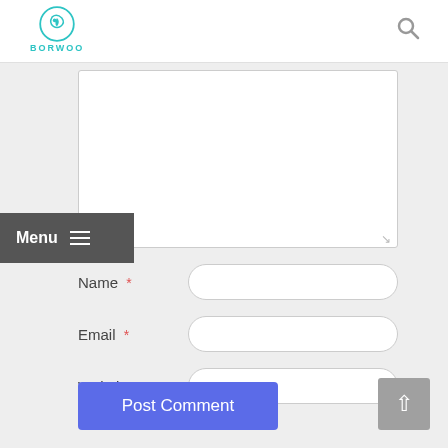[Figure (logo): Borwoo logo: teal circular icon with stylized bird/swirl and BORWOO text below]
[Figure (other): Search (magnifying glass) icon in top right of header]
[Figure (other): Dark grey Menu button with hamburger icon on left side]
Comment textarea (empty white text area)
Name *
Email *
Website
Post Comment
[Figure (other): Grey back-to-top button with up arrow chevron]